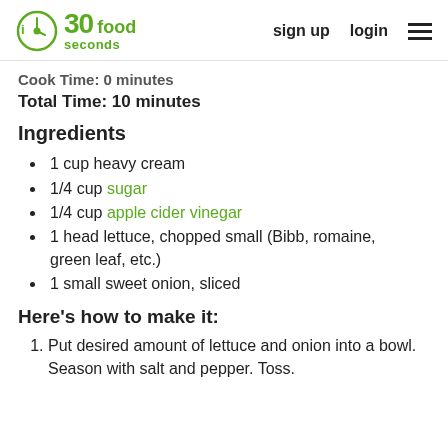30seconds food | sign up | login | menu
Cook Time: 0 minutes
Total Time: 10 minutes
Ingredients
1 cup heavy cream
1/4 cup sugar
1/4 cup apple cider vinegar
1 head lettuce, chopped small (Bibb, romaine, green leaf, etc.)
1 small sweet onion, sliced
Here's how to make it:
Put desired amount of lettuce and onion into a bowl. Season with salt and pepper. Toss.